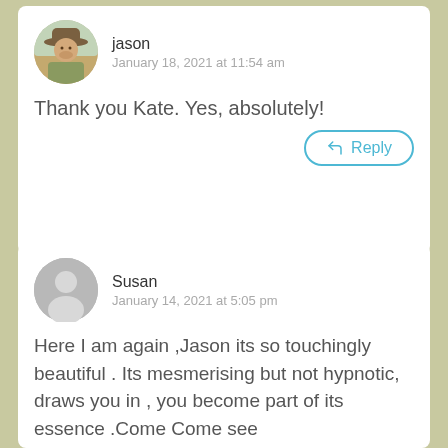[Figure (photo): Circular avatar photo of Jason, a man wearing a wide-brimmed hat outdoors]
jason
January 18, 2021 at 11:54 am
Thank you Kate. Yes, absolutely!
Reply
[Figure (illustration): Circular grey placeholder avatar silhouette for Susan]
Susan
January 14, 2021 at 5:05 pm
Here I am again ,Jason its so touchingly beautiful . Its mesmerising but not hypnotic, draws you in , you become part of its essence .Come Come see